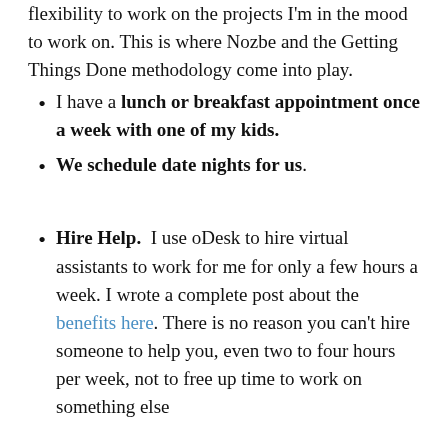flexibility to work on the projects I’m in the mood to work on. This is where Nozbe and the Getting Things Done methodology come into play.
I have a lunch or breakfast appointment once a week with one of my kids.
We schedule date nights for us.
Hire Help.  I use oDesk to hire virtual assistants to work for me for only a few hours a week. I wrote a complete post about the benefits here. There is no reason you can’t hire someone to help you, even two to four hours per week, not to free up time to work on something else